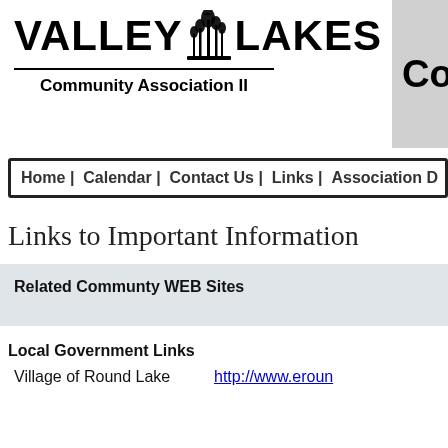[Figure (logo): Valley Lakes logo with stylized grass/reeds graphic between the words VALLEY and LAKES, with horizontal rule and subtitle Community Association II below]
Comm
Home | Calendar | Contact Us | Links | Association D
Links to Important Information
Related Communty WEB Sites
Local Government Links
Village of Round Lake    http://www.eroun